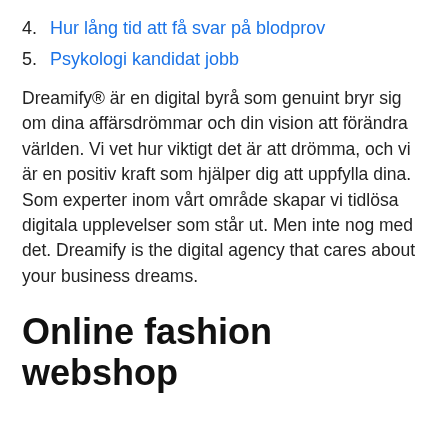4. Hur lång tid att få svar på blodprov
5. Psykologi kandidat jobb
Dreamify® är en digital byrå som genuint bryr sig om dina affärsdrömmar och din vision att förändra världen. Vi vet hur viktigt det är att drömma, och vi är en positiv kraft som hjälper dig att uppfylla dina. Som experter inom vårt område skapar vi tidlösa digitala upplevelser som står ut. Men inte nog med det. Dreamify is the digital agency that cares about your business dreams.
Online fashion webshop